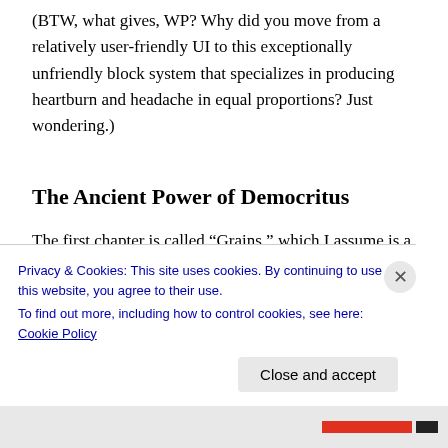(BTW, what gives, WP? Why did you move from a relatively user-friendly UI to this exceptionally unfriendly block system that specializes in producing heartburn and headache in equal proportions? Just wondering.)
The Ancient Power of Democritus
The first chapter is called “Grains,” which I assume is a reference to two things: 1) the fact that we are starting with the seminal ideas of today’s physics going back to ancient Greece and 2) the fact that the
Privacy & Cookies: This site uses cookies. By continuing to use this website, you agree to their use.
To find out more, including how to control cookies, see here: Cookie Policy